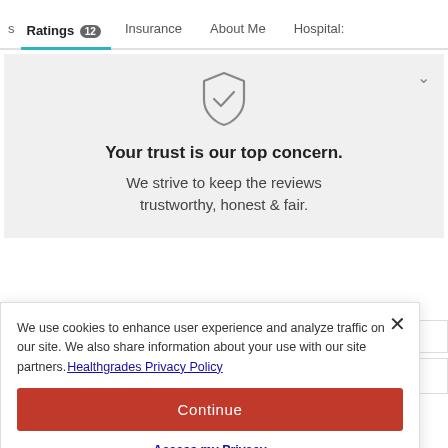s  Ratings 12  Insurance  About Me  Hospital:
[Figure (illustration): Shield with checkmark icon centered in gray trust box]
Your trust is our top concern.
We strive to keep the reviews trustworthy, honest & fair.
We use cookies to enhance user experience and analyze traffic on our site. We also share information about your use with our site partners. Healthgrades Privacy Policy
Continue
Access my Privacy Preferences
st Helpful
o Call